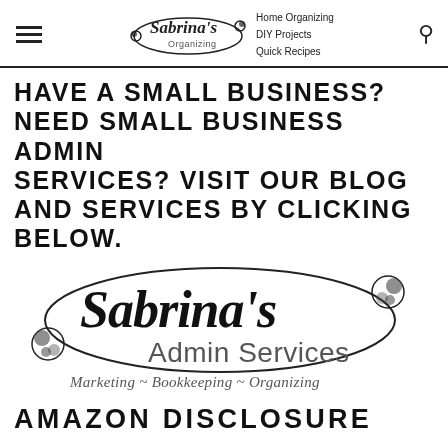Sabrina's Organizing | Home Organizing | DIY Projects | Quick Recipes
HAVE A SMALL BUSINESS? NEED SMALL BUSINESS ADMIN SERVICES? VISIT OUR BLOG AND SERVICES BY CLICKING BELOW.
[Figure (logo): Sabrina's Admin Services logo with decorative flourishes and text: Marketing ~ Bookkeeping ~ Organizing]
AMAZON DISCLOSURE